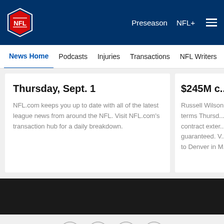NFL.com navigation bar with logo, Preseason, NFL+, and hamburger menu
News Home | Podcasts | Injuries | Transactions | NFL Writers | Se...
Thursday, Sept. 1
NFL.com keeps you up to date with all of the latest league news from around the NFL. Visit NFL.com's transaction hub for a daily breakdown.
$245M c...
Russell Wilson terms Thursd... contract exter... guaranteed. V... to Denver in M...
[Figure (photo): Dark textured black banner image]
[Figure (infographic): Social share icons: Facebook, Twitter, Email, Link]